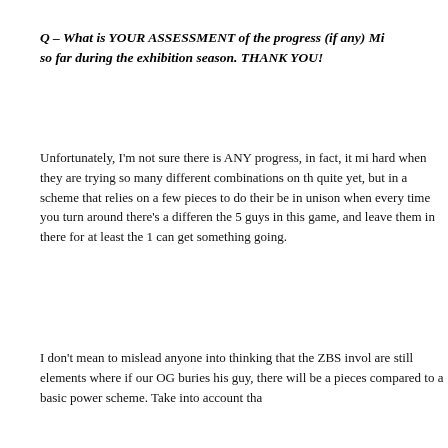Q – What is YOUR ASSESSMENT of the progress (if any) Mi so far during the exhibition season. THANK YOU!
Unfortunately, I'm not sure there is ANY progress, in fact, it mi hard when they are trying so many different combinations on th quite yet, but in a scheme that relies on a few pieces to do their be in unison when every time you turn around there's a differen the 5 guys in this game, and leave them in there for at least the 1 can get something going.
I don't mean to mislead anyone into thinking that the ZBS invol are still elements where if our OG buries his guy, there will be a pieces compared to a basic power scheme. Take into account tha